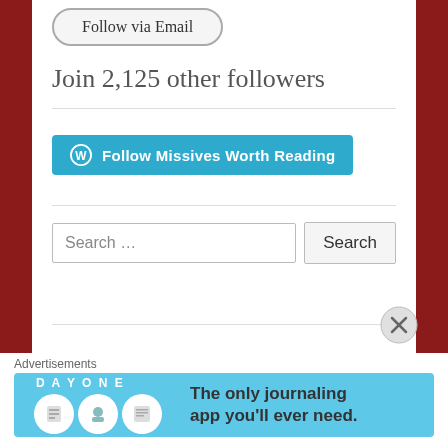[Figure (screenshot): Follow via Email rounded button, partially visible at top]
Join 2,125 other followers
[Figure (screenshot): Blue WordPress Follow Missives Worth Reading button with WordPress logo]
[Figure (screenshot): Search input field with placeholder 'Search ...' and Search button]
Advertisements
[Figure (infographic): DAY ONE journaling app advertisement banner with cartoon icons and text: The only journaling app you'll ever need.]